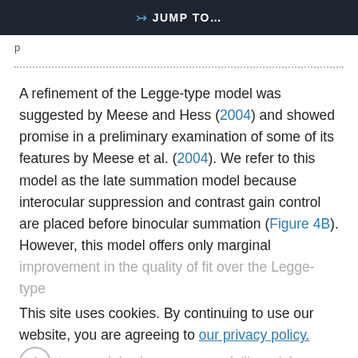JUMP TO…
A refinement of the Legge-type model was suggested by Meese and Hess (2004) and showed promise in a preliminary examination of some of its features by Meese et al. (2004). We refer to this model as the late summation model because interocular suppression and contrast gain control are placed before binocular summation (Figure 4B). However, this model offers only marginal improvement in the quality of fit over the Legge-type
This site uses cookies. By continuing to use our website, you are agreeing to our privacy policy. Accept
two models share common failings (cf. Figures 1A and 3C).